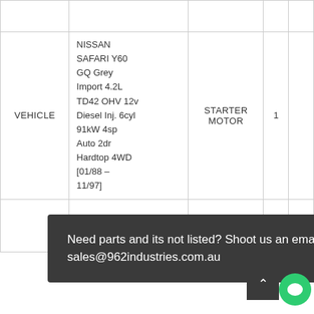|  | Description | Part Type | Qty | Price |
| --- | --- | --- | --- | --- |
|  |  |  |  |  |
| VEHICLE | NISSAN SAFARI Y60 GQ Grey Import 4.2L TD42 OHV 12v Diesel Inj. 6cyl 91kW 4sp Auto 2dr Hardtop 4WD [01/88 – 11/97] | STARTER MOTOR | 1 |  |
|  | Diesel Inj. 6cyl 91kW 5sp Man |  |  |  |
Need parts and its not listed? Shoot us an email! sales@962industries.com.au